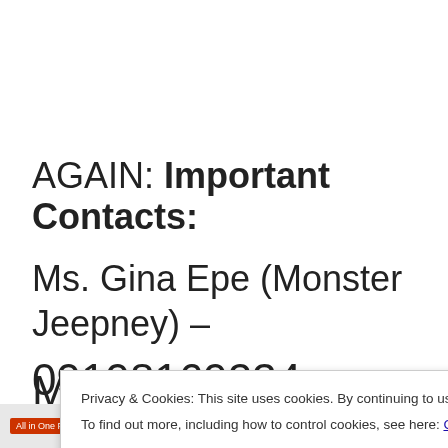AGAIN: Important Contacts:
Ms. Gina Epe (Monster Jeepney) – 09198169234
M
Privacy & Cookies: This site uses cookies. By continuing to use this website, you agree to their use. To find out more, including how to control cookies, see here: Cookie Policy
Close and accept